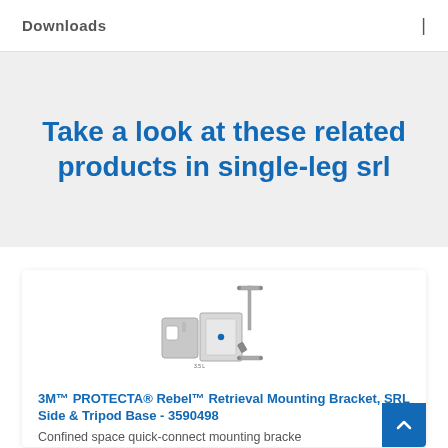Downloads
Take a look at these related products in single-leg srl
[Figure (photo): Product photo of 3M PROTECTA Rebel Retrieval Mounting Bracket components: wall bracket, plate, and small hardware pieces]
3M™ PROTECTA® Rebel™ Retrieval Mounting Bracket, SRL Side & Tripod Base - 3590498
Confined space quick-connect mounting bracket